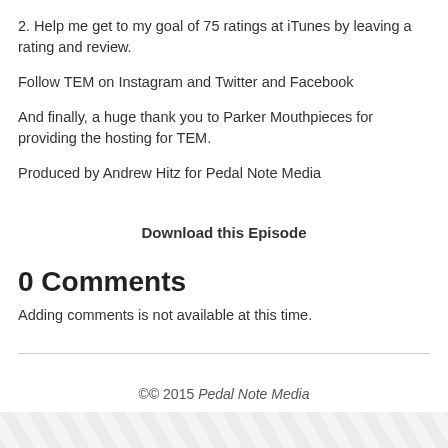2. Help me get to my goal of 75 ratings at iTunes by leaving a rating and review.
Follow TEM on Instagram and Twitter and Facebook
And finally, a huge thank you to Parker Mouthpieces for providing the hosting for TEM.
Produced by Andrew Hitz for Pedal Note Media
Download this Episode
0 Comments
Adding comments is not available at this time.
©© 2015 Pedal Note Media